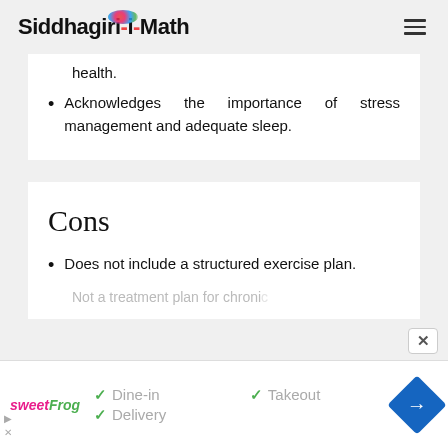Siddhagiri-Math
health.
Acknowledges the importance of stress management and adequate sleep.
Cons
Does not include a structured exercise plan.
Not a treatment plan for chronic